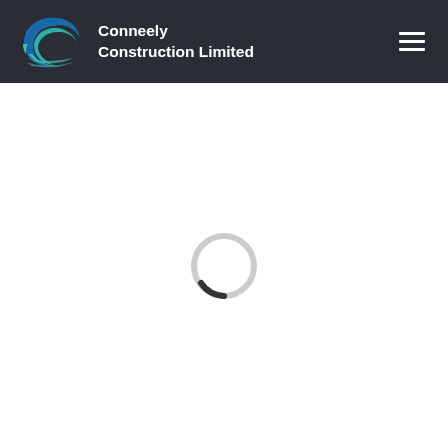Conneely Construction Limited
[Figure (other): Loading spinner — a circle outline in light gray with a small dark arc at the bottom-right, indicating a page loading state]